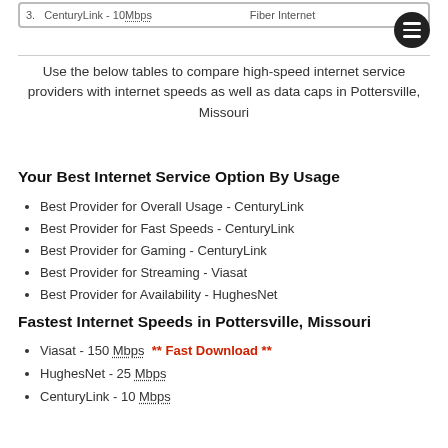CenturyLink - 10 Mbps   Fiber Internet
Use the below tables to compare high-speed internet service providers with internet speeds as well as data caps in Pottersville, Missouri
Your Best Internet Service Option By Usage
Best Provider for Overall Usage - CenturyLink
Best Provider for Fast Speeds - CenturyLink
Best Provider for Gaming - CenturyLink
Best Provider for Streaming - Viasat
Best Provider for Availability - HughesNet
Fastest Internet Speeds in Pottersville, Missouri
Viasat - 150 Mbps ** Fast Download **
HughesNet - 25 Mbps
CenturyLink - 10 Mbps